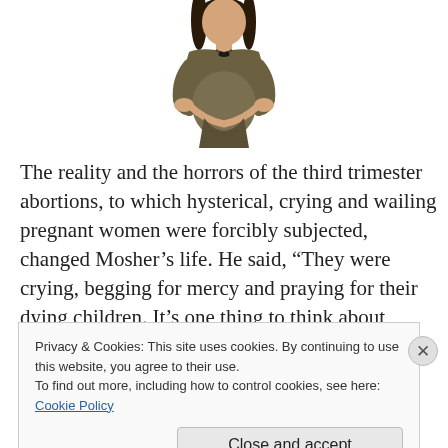[Figure (photo): A pregnant woman in a dark olive/brown top, standing and cradling her belly with both hands, photographed from the waist up against a white background.]
The reality and the horrors of the third trimester abortions, to which hysterical, crying and wailing pregnant women were forcibly subjected, changed Mosher's life. He said, “They were crying, begging for mercy and praying for their dying children. It’s one thing to think about abortion in
Privacy & Cookies: This site uses cookies. By continuing to use this website, you agree to their use.
To find out more, including how to control cookies, see here: Cookie Policy
Close and accept